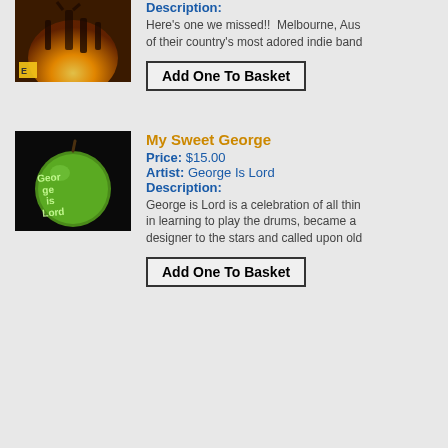[Figure (photo): Album cover with people dancing in warm orange/golden light outdoors]
Description:
Here's one we missed!!  Melbourne, Aus of their country's most adored indie band
Add One To Basket
[Figure (photo): Album cover showing a green apple with text carved/written on it reading 'George is Lord']
My Sweet George
Price: $15.00
Artist: George Is Lord
Description:
George is Lord is a celebration of all thin in learning to play the drums, became a designer to the stars and called upon old
Add One To Basket